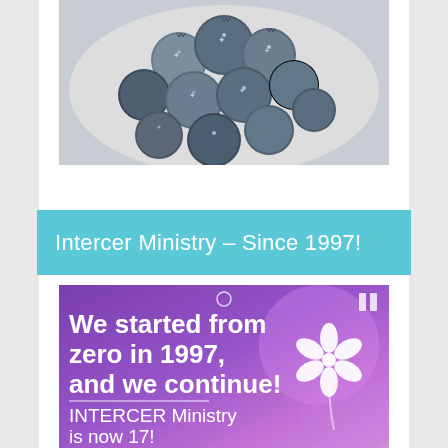[Figure (photo): A bowl of frosted/frozen blueberries photographed from above on a white surface]
Intercer Ministry – Since 1997!
[Figure (infographic): Purple promotional graphic with white flowers, text reading 'We started from zero in 1997, and we continue!' with a horizontal divider and subtitle 'INTERCER Ministry is now 17!']